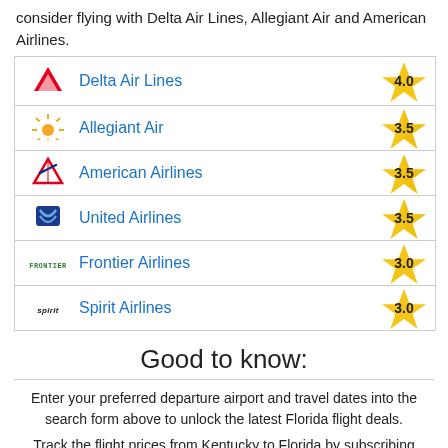consider flying with Delta Air Lines, Allegiant Air and American Airlines.
| Logo | Airline | Rating |
| --- | --- | --- |
| Delta Air Lines logo | Delta Air Lines | 4.0 |
| Allegiant Air logo | Allegiant Air | 3.5 |
| American Airlines logo | American Airlines | 3.5 |
| United Airlines logo | United Airlines | 3.5 |
| Frontier Airlines logo | Frontier Airlines | 3.0 |
| Spirit Airlines logo | Spirit Airlines | 3.0 |
Good to know:
Enter your preferred departure airport and travel dates into the search form above to unlock the latest Florida flight deals.
Track the flight prices from Kentucky to Florida by subscribing